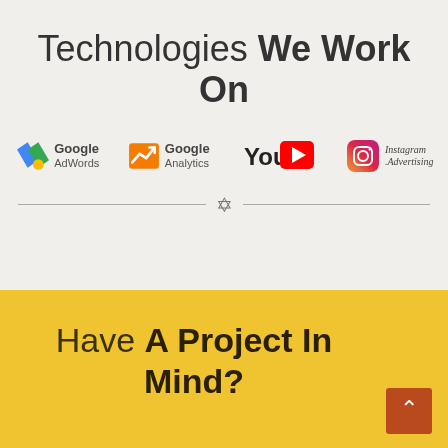Technologies We Work On
[Figure (logo): Row of technology logos: Google AdWords, Google Analytics, YouTube, Instagram Advertising]
Have A Project In Mind?